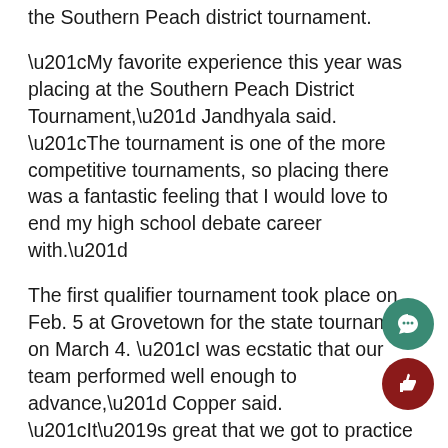the Southern Peach district tournament.
“My favorite experience this year was placing at the Southern Peach District Tournament,” Jandhyala said. “The tournament is one of the more competitive tournaments, so placing there was a fantastic feeling that I would love to end my high school debate career with.”
The first qualifier tournament took place on Feb. 5 at Grovetown for the state tournament on March 4. “I was ecstatic that our team performed well enough to advance,” Copper said. “It’s great that we got to practice and compete together for another month because being around the people is what makes debate great.”
The major individual win was claimed by Wittbrodt in February at Calhoun. He debated against other firs and second-year members of debate, and worked his